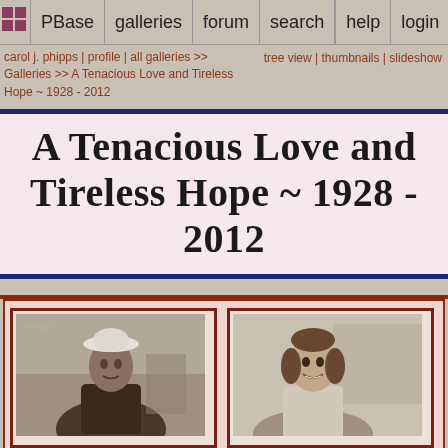PBase | galleries | forum | search | help | login
carol j. phipps | profile | all galleries >> Galleries >> A Tenacious Love and Tireless Hope ~ 1928 - 2012
tree view | thumbnails | slideshow
A Tenacious Love and Tireless Hope ~ 1928 - 2012
[Figure (photo): Two vintage photographs of people, framed with red-brown borders on a pink/cream background. Left photo shows a person wearing a white hat/cap. Right photo shows a woman smiling.]